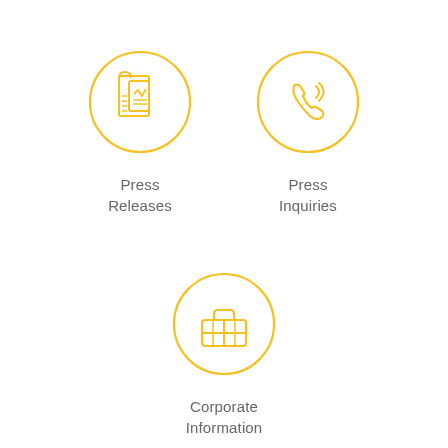[Figure (illustration): Circle icon with newspaper/press release document graphic in golden yellow outline style]
Press Releases
[Figure (illustration): Circle icon with telephone handset with signal waves graphic in golden yellow outline style]
Press Inquiries
[Figure (illustration): Circle icon with briefcase graphic in golden yellow outline style]
Corporate Information